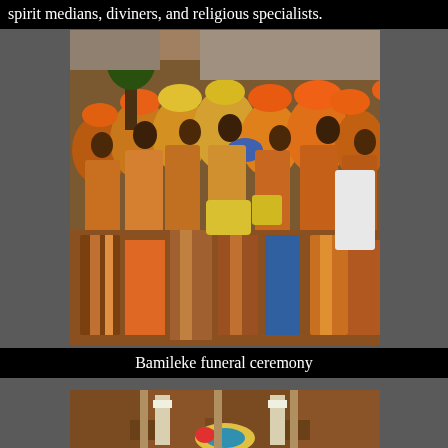spirit medians, diviners, and religious specialists.
[Figure (photo): Large crowd at a Bamileke funeral ceremony, people wearing colorful traditional attire including orange, yellow, and brown head wraps and African print clothing.]
Bamileke funeral ceremony
[Figure (photo): People with bare torsos holding decorated ceremonial objects, partial view showing waists and hands.]